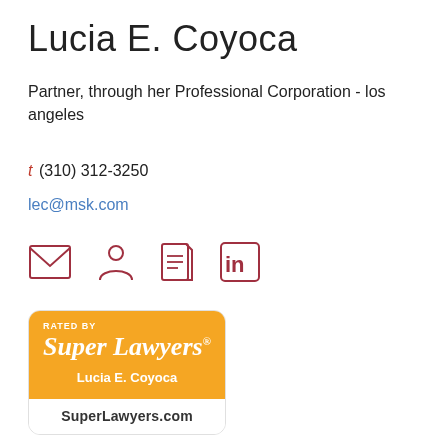Lucia E. Coyoca
Partner, through her Professional Corporation - los angeles
t (310) 312-3250
lec@msk.com
[Figure (infographic): Four icon buttons: envelope (email), person (vCard/profile), document, LinkedIn logo — all rendered in dark red/maroon outline style]
[Figure (infographic): Super Lawyers badge: orange rectangle with 'RATED BY' text, 'Super Lawyers' in large italic serif font, 'Lucia E. Coyoca' in bold white, and 'SuperLawyers.com' in white footer section]